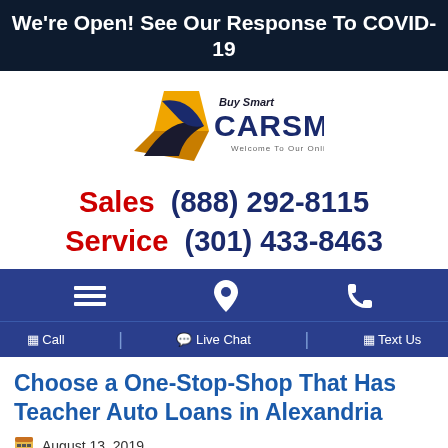We're Open! See Our Response To COVID-19
[Figure (logo): Buy Smart CarSmart dealership logo with diamond/car icon, text 'Buy Smart CARSMART Welcome To Our Online Dealership']
Sales (888) 292-8115
Service (301) 433-8463
[Figure (other): Navigation bar with hamburger menu icon, location pin icon, and phone icon on blue background]
Call  |  Live Chat  |  Text Us
Choose a One-Stop-Shop That Has Teacher Auto Loans in Alexandria
August 13, 2019